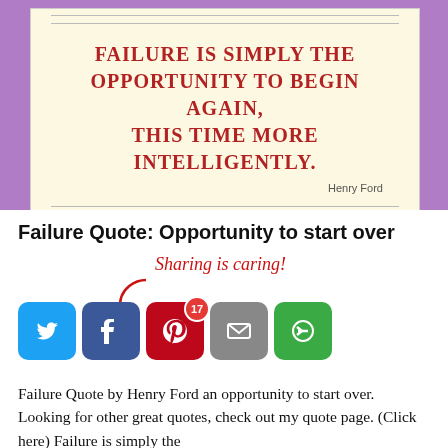[Figure (illustration): Quote card on cream background with red text reading 'FAILURE IS SIMPLY THE OPPORTUNITY TO BEGIN AGAIN, THIS TIME MORE INTELLIGENTLY.' attributed to Henry Ford, with 'Embrace Change' in the footer]
Failure Quote: Opportunity to start over
[Figure (infographic): Sharing is caring! section with arrow graphic and social media sharing buttons: Twitter, Facebook (with badge 17), Pinterest, Email, and More/Share]
Failure Quote by Henry Ford an opportunity to start over. Looking for other great quotes, check out my quote page. (Click here) Failure is simply the